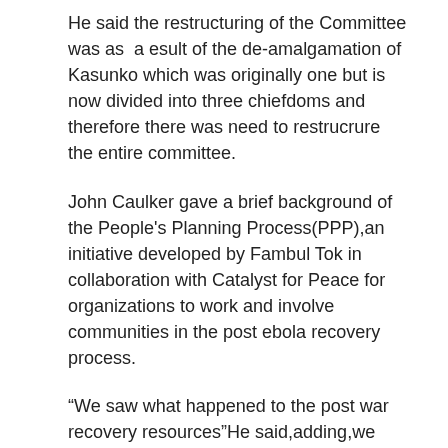He said the restructuring of the Committee was as a esult of the de-amalgamation of Kasunko which was originally one but is now divided into three chiefdoms and therefore there was need to restrucrure the entire committee.
John Caulker gave a brief background of the People's Planning Process(PPP),an initiative developed by Fambul Tok in collaboration with Catalyst for Peace for organizations to work and involve communities in the post ebola recovery process.
“We saw what happened to the post war recovery resources”He said,adding,we dont a repeat of wastages and that is why we brought this initiative so that communities would be fully invloved in development activities”. We have worked and continue to operate in three pilot districts of Kailahun,Moyamba and Koinadugu to develop chiefdom plans which